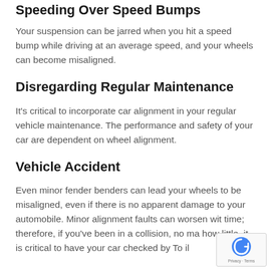Speeding Over Speed Bumps
Your suspension can be jarred when you hit a speed bump while driving at an average speed, and your wheels can become misaligned.
Disregarding Regular Maintenance
It's critical to incorporate car alignment in your regular vehicle maintenance. The performance and safety of your car are dependent on wheel alignment.
Vehicle Accident
Even minor fender benders can lead your wheels to be misaligned, even if there is no apparent damage to your automobile. Minor alignment faults can worsen with time; therefore, if you've been in a collision, no ma… how little, it is critical to have your car checked by To il…